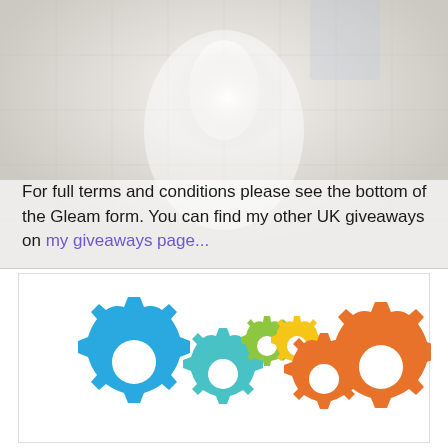[Figure (photo): Faded/washed-out photo of what appears to be a white decorative object or figure against a light textured background]
For full terms and conditions please see the bottom of the Gleam form. You can find my other UK giveaways on my giveaways page...
[Figure (illustration): Gleam app logo showing a series of colorful interlocking gear icons: large blue gear, medium teal gear, small green gear, small yellow gear, medium orange gear, large orange gear]